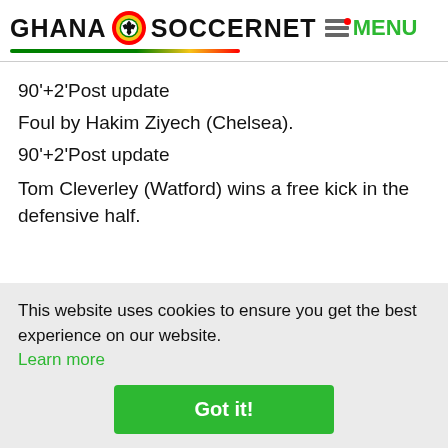GHANA SOCCERNET MENU
90'+2'Post update
Foul by Hakim Ziyech (Chelsea).
90'+2'Post update
Tom Cleverley (Watford) wins a free kick in the defensive half.
This website uses cookies to ensure you get the best experience on our website. Learn more
Got it!